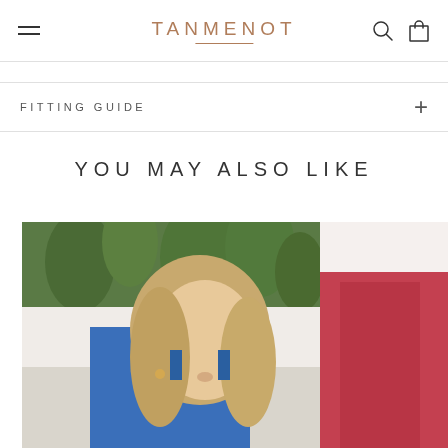TANMENOT — navigation header with hamburger menu, logo, search and cart icons
FITTING GUIDE
YOU MAY ALSO LIKE
[Figure (photo): Woman with blonde hair wearing a blue swimsuit, seated outdoors with tropical green plants and a white wall in the background. Partial view of a second product image (red/burgundy item) on the right edge.]